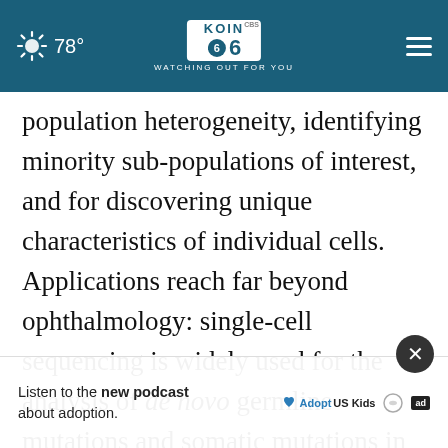KOIN 6 — WATCHING OUT FOR YOU — 78°
population heterogeneity, identifying minority sub-populations of interest, and for discovering unique characteristics of individual cells. Applications reach far beyond ophthalmology: single-cell sequencing is widely used for the analysis of de novo germline mutations and somatic mutations in normal and diseased cells, e.g. in cancer cells.
A new scRNA-seq protocol developed at OB, with s... for
[Figure (screenshot): Ad overlay: 'Listen to the new podcast about adoption.' with AdoptUSKids logo and ad badge]